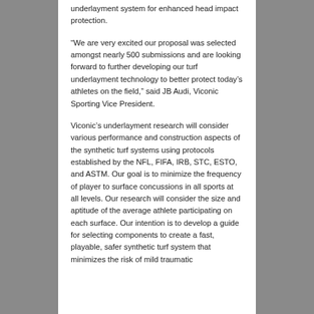underlayment system for enhanced head impact protection.
“We are very excited our proposal was selected amongst nearly 500 submissions and are looking forward to further developing our turf underlayment technology to better protect today’s athletes on the field,” said JB Audi, Viconic Sporting Vice President.
Viconic’s underlayment research will consider various performance and construction aspects of the synthetic turf systems using protocols established by the NFL, FIFA, IRB, STC, ESTO, and ASTM. Our goal is to minimize the frequency of player to surface concussions in all sports at all levels. Our research will consider the size and aptitude of the average athlete participating on each surface. Our intention is to develop a guide for selecting components to create a fast, playable, safer synthetic turf system that minimizes the risk of mild traumatic